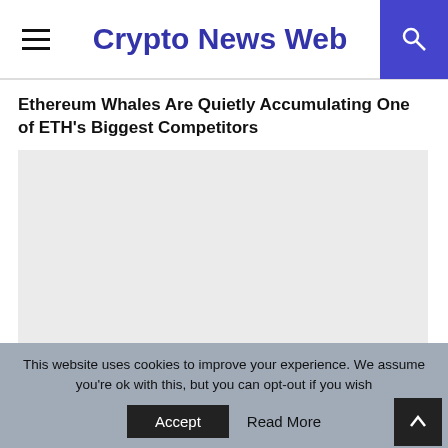Crypto News Web
Ethereum Whales Are Quietly Accumulating One of ETH’s Biggest Competitors
[Figure (photo): Light gray image placeholder rectangle below the article title]
This website uses cookies to improve your experience. We’ll assume you're ok with this, but you can opt-out if you wish.
Accept   Read More